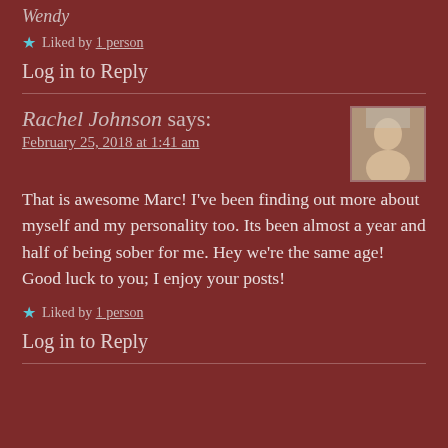Wendy
★ Liked by 1 person
Log in to Reply
Rachel Johnson says:
February 25, 2018 at 1:41 am
That is awesome Marc! I've been finding out more about myself and my personality too. Its been almost a year and half of being sober for me. Hey we're the same age! Good luck to you; I enjoy your posts!
★ Liked by 1 person
Log in to Reply